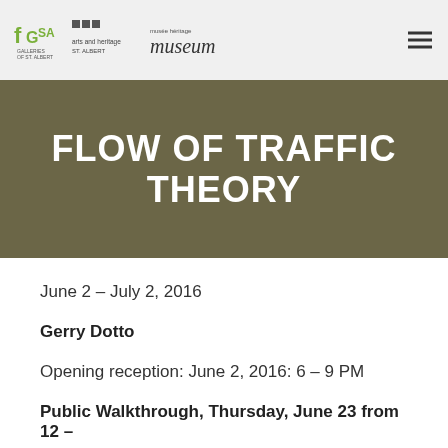GSA Arts and Heritage / Musée Héritage Museum logo header with navigation
FLOW OF TRAFFIC THEORY
June 2 – July 2, 2016
Gerry Dotto
Opening reception: June 2, 2016: 6 – 9 PM
Public Walkthrough, Thursday, June 23 from 12 –